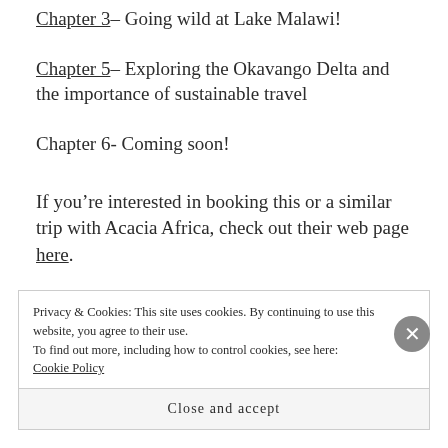Chapter 3– Going wild at Lake Malawi!
Chapter 5– Exploring the Okavango Delta and the importance of sustainable travel
Chapter 6- Coming soon!
If you’re interested in booking this or a similar trip with Acacia Africa, check out their web page here.
Privacy & Cookies: This site uses cookies. By continuing to use this website, you agree to their use.
To find out more, including how to control cookies, see here: Cookie Policy
Close and accept